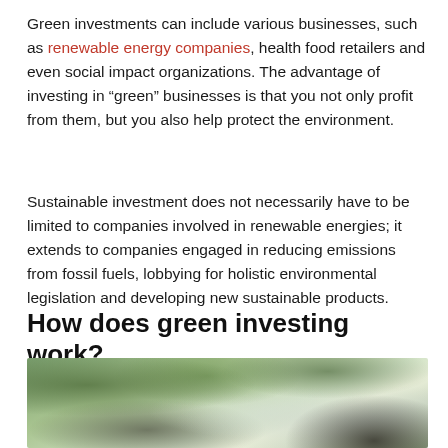Green investments can include various businesses, such as renewable energy companies, health food retailers and even social impact organizations. The advantage of investing in “green” businesses is that you not only profit from them, but you also help protect the environment.
Sustainable investment does not necessarily have to be limited to companies involved in renewable energies; it extends to companies engaged in reducing emissions from fossil fuels, lobbying for holistic environmental legislation and developing new sustainable products.
How does green investing work?
[Figure (photo): Photo of a person with plants in an indoor setting with large windows, green foliage visible on left and right sides, and a person with dark curly hair visible in the lower right.]